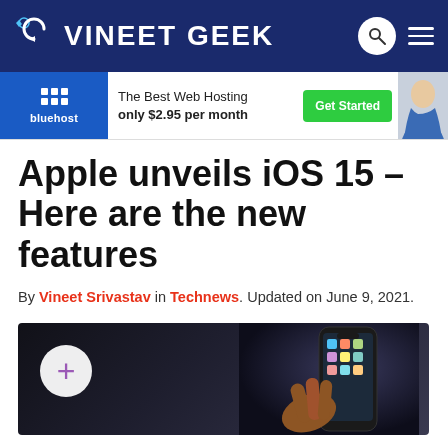VINEET GEEK
[Figure (screenshot): Bluehost advertisement banner: 'The Best Web Hosting only $2.95 per month' with Get Started button and woman photo]
Apple unveils iOS 15 – Here are the new features
By Vineet Srivastav in Technews. Updated on June 9, 2021.
[Figure (photo): Dark background photo of a hand holding an iPhone displaying the iOS 15 home screen, with a white circle containing a purple plus sign overlay on the left]